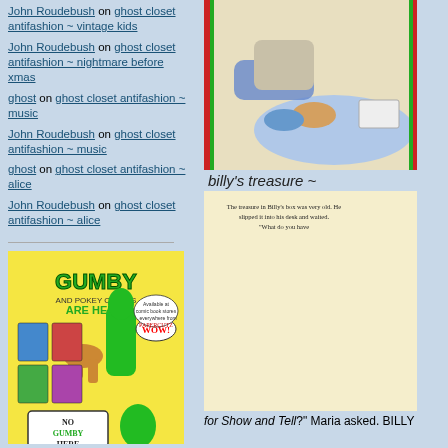John Roudebush on ghost closet antifashion ~ vintage kids
John Roudebush on ghost closet antifashion ~ nightmare before xmas
ghost on ghost closet antifashion ~ music
John Roudebush on ghost closet antifashion ~ music
ghost on ghost closet antifashion ~ alice
John Roudebush on ghost closet antifashion ~ alice
[Figure (photo): Gumby and Pokey Comics Are Here! promotional comic book cover with green Gumby character and text 'NO GUMBY HERE', 'WOW!' speech bubble, available at comic book stores from Papercutz]
[Figure (photo): Vintage children's book illustration showing a child lying on the floor reading, feet with shoes visible, on a blue rug]
billy's treasure ~
[Figure (photo): Vintage children's book illustration showing children at school desks, with text 'The treasure in Billy's box was very old. He slipped it into his desk and waited. "What do you have for Show and Tell?" Maria asked.' A name tag reading BILLY is visible.]